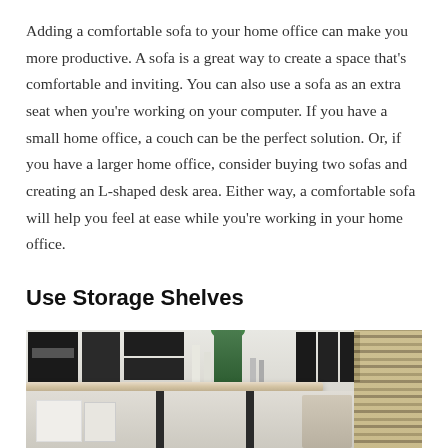Adding a comfortable sofa to your home office can make you more productive. A sofa is a great way to create a space that's comfortable and inviting. You can also use a sofa as an extra seat when you're working on your computer. If you have a small home office, a couch can be the perfect solution. Or, if you have a larger home office, consider buying two sofas and creating an L-shaped desk area. Either way, a comfortable sofa will help you feel at ease while you're working in your home office.
Use Storage Shelves
[Figure (photo): A photo of storage shelves in a home office setting, showing dark storage boxes on the left, white decorative items, a green plant/bottle, small pencil-holder items in the center, more dark books/boxes on the right, and a striped blind on the far right. A wooden shelf board is visible with support legs underneath.]